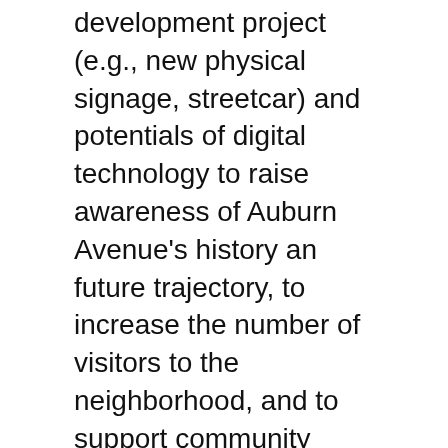development project (e.g., new physical signage, streetcar) and potentials of digital technology to raise awareness of Auburn Avenue's history an future trajectory, to increase the number of visitors to the neighborhood, and to support community preservation and revitalization efforts. Project objectives include:
To explore the usage of locative media forms for their potential to increase civic engagement among visitors and residents.
To make the rich cultural heritage and history of Auburn